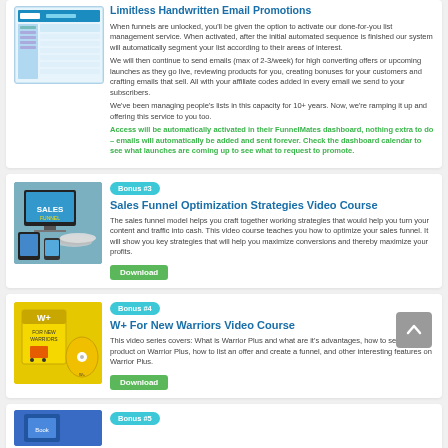[Figure (screenshot): Email management dashboard screenshot]
Limitless Handwritten Email Promotions
When funnels are unlocked, you'll be given the option to activate our done-for-you list management service. When activated, after the initial automated sequence is finished our system will automatically segment your list according to their areas of interest.
We will then continue to send emails (max of 2-3/week) for high converting offers or upcoming launches as they go live, reviewing products for you, creating bonuses for your customers and crafting emails that sell. All with your affiliate codes added in every email we send to your subscribers.
We've been managing people's lists in this capacity for 10+ years. Now, we're ramping it up and offering this service to you too.
Access will be automatically activated in their FunnelMates dashboard, nothing extra to do – emails will automatically be added and sent forever. Check the dashboard calendar to see what launches are coming up to see what to request to promote.
Bonus #3
[Figure (photo): Sales Funnel product image with DVDs and devices]
Sales Funnel Optimization Strategies Video Course
The sales funnel model helps you craft together working strategies that would help you turn your content and traffic into cash. This video course teaches you how to optimize your sales funnel. It will show you key strategies that will help you maximize conversions and thereby maximize your profits.
Bonus #4
[Figure (photo): W+ For New Warriors product box and CD]
W+ For New Warriors Video Course
This video series covers: What is Warrior Plus and what are it's advantages, how to sell your product on Warrior Plus, how to list an offer and create a funnel, and other interesting features on Warrior Plus.
Bonus #5
[Figure (photo): Book product image (partially visible)]